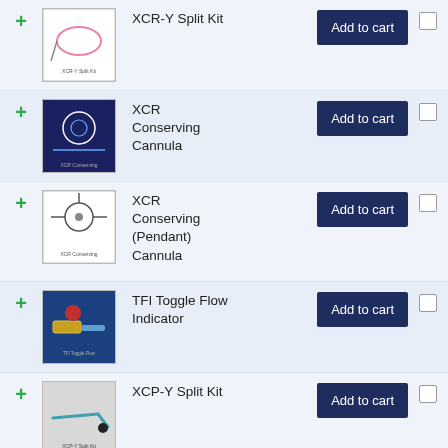| + | Image | Product | Action | Select |
| --- | --- | --- | --- | --- |
| + | XCR-Y Split Kit image | XCR-Y Split Kit | Add to cart |  |
| + | XCR Conserving Cannula image | XCR Conserving Cannula | Add to cart |  |
| + | XCR Conserving (Pendant) Cannula image | XCR Conserving (Pendant) Cannula | Add to cart |  |
| + | TFI Toggle Flow Indicator image | TFI Toggle Flow Indicator | Add to cart |  |
| + | XCP-Y Split Kit image | XCP-Y Split Kit | Add to cart |  |
| + | Feedtube Assembly for... image | Feedtube Assembly for | Select options |  |